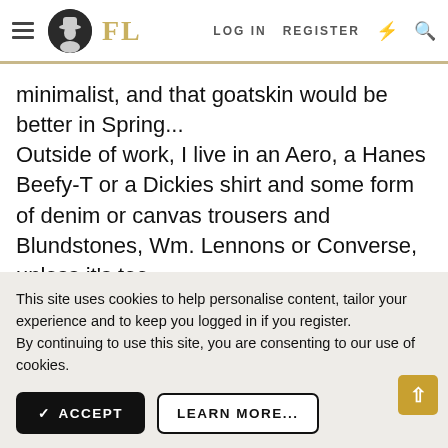FL | LOG IN | REGISTER
minimalist, and that goatskin would be better in Spring...
Outside of work, I live in an Aero, a Hanes Beefy-T or a Dickies shirt and some form of denim or canvas trousers and Blundstones, Wm. Lennons or Converse, unless it's too
This site uses cookies to help personalise content, tailor your experience and to keep you logged in if you register.
By continuing to use this site, you are consenting to our use of cookies.
✓ ACCEPT   LEARN MORE...
doing that. 🙂. I jest.
mijam3s, El Marro, Monitor and 1 other person